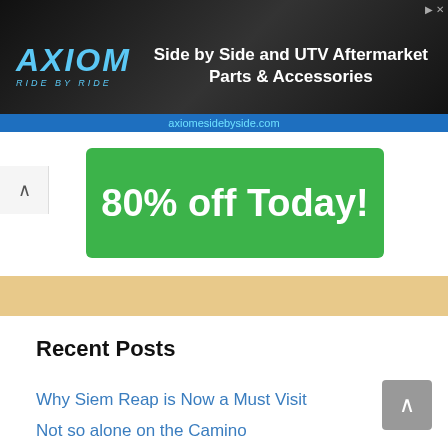[Figure (other): AXIOM 'Ride by Ride' advertisement banner for Side by Side and UTV Aftermarket Parts & Accessories, website axiomesidebyside.com]
[Figure (other): Green promotional bubble/banner with text '80% off Today!']
Recent Posts
Why Siem Reap is Now a Must Visit
Not so alone on the Camino
Solo Travel – Inspiration and Information
How to Keep Fit Travelling
How to climb Mount Kinabalu